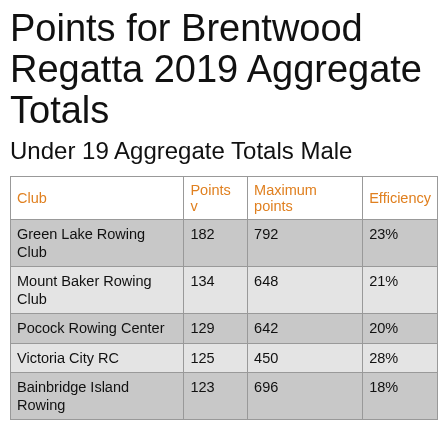Points for Brentwood Regatta 2019 Aggregate Totals
Under 19 Aggregate Totals Male
| Club | Points v | Maximum points | Efficiency |
| --- | --- | --- | --- |
| Green Lake Rowing Club | 182 | 792 | 23% |
| Mount Baker Rowing Club | 134 | 648 | 21% |
| Pocock Rowing Center | 129 | 642 | 20% |
| Victoria City RC | 125 | 450 | 28% |
| Bainbridge Island Rowing | 123 | 696 | 18% |